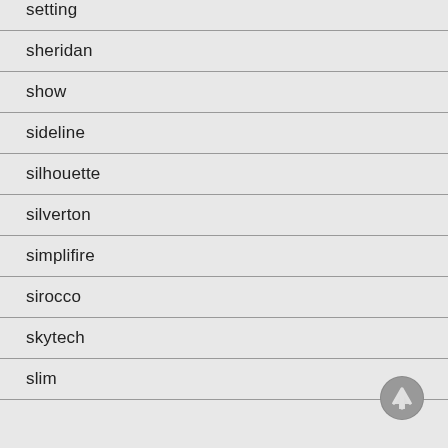setting
sheridan
show
sideline
silhouette
silverton
simplifire
sirocco
skytech
slim
[Figure (illustration): Up arrow navigation button, circular grey icon with upward arrow]